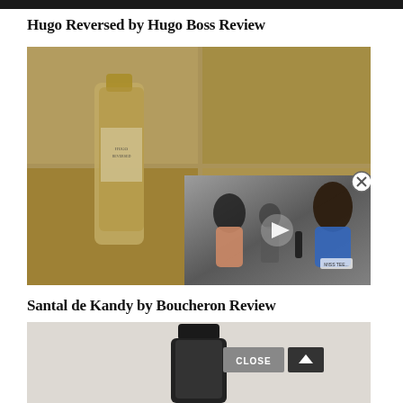Hugo Reversed by Hugo Boss Review
[Figure (photo): Photo of a Hugo Boss perfume bottle lying on magazine pages with advertisement imagery, with a video overlay thumbnail showing two people being interviewed, one holding a microphone, with a play button, and a close (X) button]
Santal de Kandy by Boucheron Review
[Figure (photo): Partial photo of a dark perfume bottle against a light grey background, with a CLOSE button and an up-arrow button overlaid]